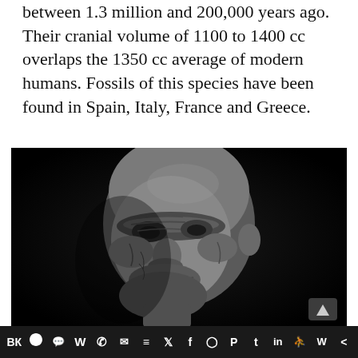between 1.3 million and 200,000 years ago. Their cranial volume of 1100 to 1400 cc overlaps the 1350 cc average of modern humans. Fossils of this species have been found in Spain, Italy, France and Greece.
[Figure (photo): Black and white photograph of a reconstructed face of an archaic human/Homo species, showing prominent brow ridges, wrinkled skin, bald head, viewed from a slightly low angle against a black background.]
Social sharing bar with icons: VK, Telegram, Reddit, WordPress, WhatsApp, Email, Buffer, Twitter, Facebook, Instagram, Pinterest, Tumblr, LinkedIn, Share, Webtoons, Share